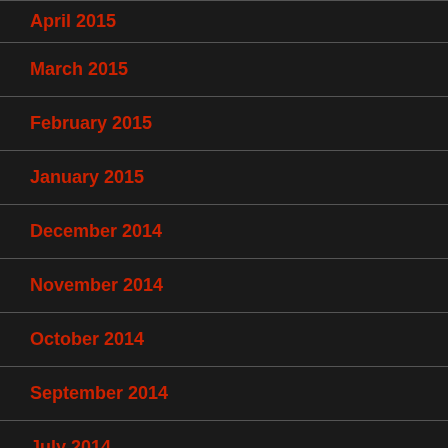April 2015
March 2015
February 2015
January 2015
December 2014
November 2014
October 2014
September 2014
July 2014
February 2014
November 2012